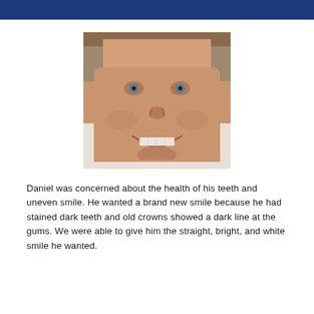[Figure (photo): Close-up photo of a smiling middle-aged man with short brown hair, showing his teeth.]
Daniel was concerned about the health of his teeth and uneven smile. He wanted a brand new smile because he had stained dark teeth and old crowns showed a dark line at the gums. We were able to give him the straight, bright, and white smile he wanted.